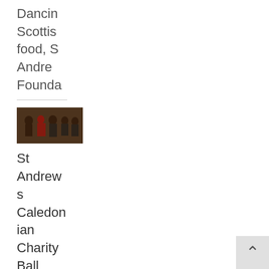Dancing Scottish food, St Andrews Foundation
[Figure (photo): Group of people at a formal ball/dance event, wearing evening dress]
St Andrews Caledonian Charity Ball 2018 What a fantastic night